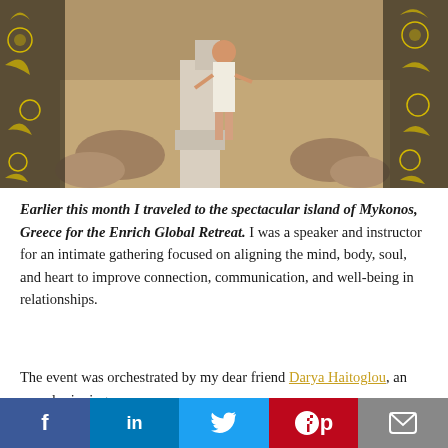[Figure (photo): Woman in white dress standing at ancient Greek ruins with decorative gold floral pattern overlays on left and right sides]
Earlier this month I traveled to the spectacular island of Mykonos, Greece for the Enrich Global Retreat. I was a speaker and instructor for an intimate gathering focused on aligning the mind, body, soul, and heart to improve connection, communication, and well-being in relationships.
The event was orchestrated by my dear friend Darya Haitoglou, an award-winning
[Figure (infographic): Social media sharing bar with Facebook, LinkedIn, Twitter, Pinterest, and Email buttons]